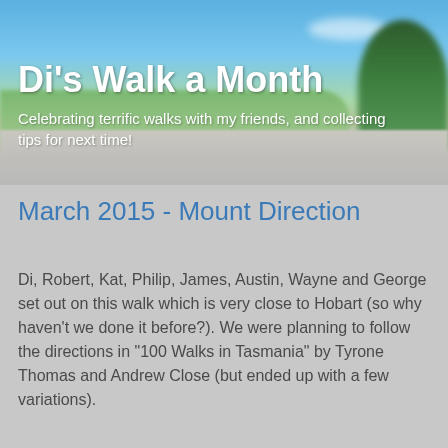[Figure (photo): Outdoor scenic background showing blue sky with clouds, green trees on the right, grassy fields, and a road in the foreground]
Di's Walk a Month
Celebrating terrific walks with my friends, and collecting tips for next time!
March 2015 - Mount Direction
Di, Robert, Kat, Philip, James, Austin, Wayne and George set out on this walk which is very close to Hobart (so why haven't we done it before?). We were planning to follow the directions in "100 Walks in Tasmania" by Tyrone Thomas and Andrew Close (but ended up with a few variations).